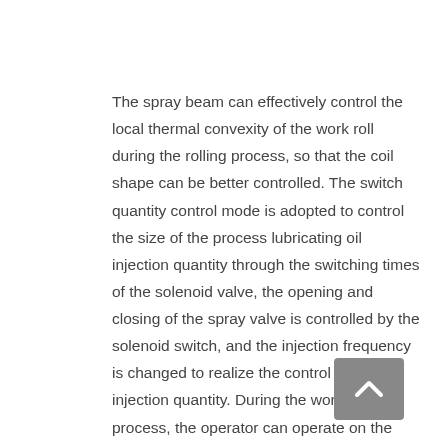The spray beam can effectively control the local thermal convexity of the work roll during the rolling process, so that the coil shape can be better controlled. The switch quantity control mode is adopted to control the size of the process lubricating oil injection quantity through the switching times of the solenoid valve, the opening and closing of the spray valve is controlled by the solenoid switch, and the injection frequency is changed to realize the control of the injection quantity. During the working process, the operator can operate on the touch screen according to the actual situation of the board, and change the corresponding nozzle flow at any time;